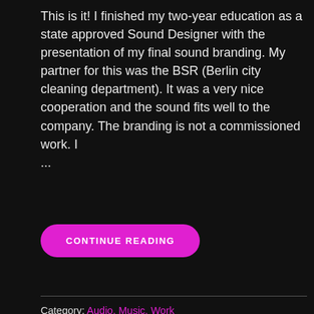This is it! I finished my two-year education as a state approved Sound Designer with the presentation of my final sound branding. My partner for this was the BSR (Berlin city cleaning department). It was a very nice cooperation and the sound fits well to the company. The branding is not a commissioned work. I ...
CONTINUE READING
Category: Audio, Music, Work
Tags: Audio branding, Berlin, Berliner Stadtreinigung, BSR, City Cleaning Department, Corporate Identity, Music Producer, Music Production, Sound Branding, Sound Design, Sound Designer, Wave Akademie, wave akademie für digitale medien